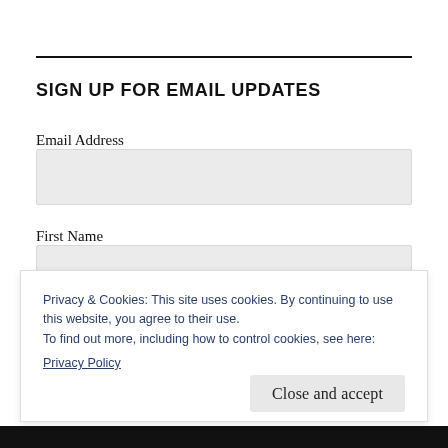SIGN UP FOR EMAIL UPDATES
Email Address
First Name
Privacy & Cookies: This site uses cookies. By continuing to use this website, you agree to their use.
To find out more, including how to control cookies, see here:
Privacy Policy
Close and accept